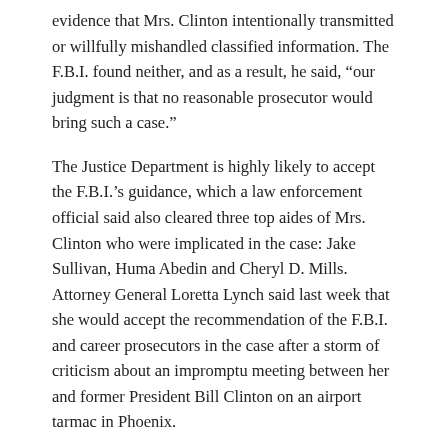evidence that Mrs. Clinton intentionally transmitted or willfully mishandled classified information. The F.B.I. found neither, and as a result, he said, “our judgment is that no reasonable prosecutor would bring such a case.”
The Justice Department is highly likely to accept the F.B.I.’s guidance, which a law enforcement official said also cleared three top aides of Mrs. Clinton who were implicated in the case: Jake Sullivan, Huma Abedin and Cheryl D. Mills. Attorney General Loretta Lynch said last week that she would accept the recommendation of the F.B.I. and career prosecutors in the case after a storm of criticism about an impromptu meeting between her and former President Bill Clinton on an airport tarmac in Phoenix.
Mr. Comey’s 15-minute announcement, delivered with no advance warning only three days after his investigators interviewed Mrs. Clinton in the case, riveted official Washington and is likely to reverberate for the rest of the campaign. In offices across the capital, all eyes turned to television screens to hear the outcome of a yearlong investigation that could have thrown the 2016 presidential election into disarray and changed history.
As Mr. Comey strode to the lectern at the F.B.I. headquarters at 11